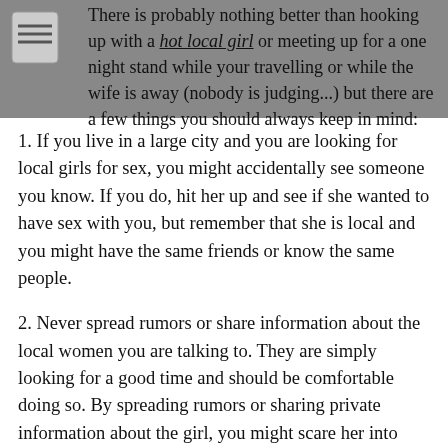There is probably nothing better than hooking up with a hot local girl or meeting up for a one night stand while your travelling or while the wife is away (nobody is judging...) but there are a few things you should always keep in mind:
1. If you live in a large city and you are looking for local girls for sex, you might accidentally see someone you know. If you do, hit her up and see if she wanted to have sex with you, but remember that she is local and you might have the same friends or know the same people.
2. Never spread rumors or share information about the local women you are talking to. They are simply looking for a good time and should be comfortable doing so. By spreading rumors or sharing private information about the girl, you might scare her into deleting her profile. Always respect the girls that are online looking for local hookups, just as you would want them to respect you.